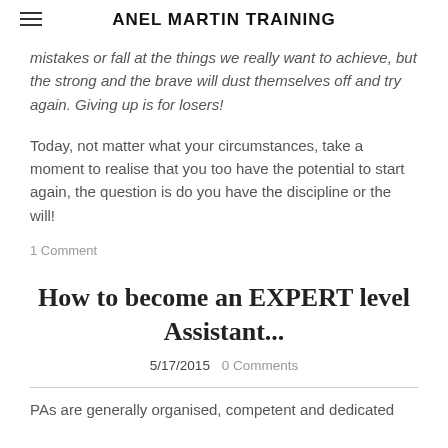ANEL MARTIN TRAINING
mistakes or fall at the things we really want to achieve, but the strong and the brave will dust themselves off and try again. Giving up is for losers!
Today, not matter what your circumstances, take a moment to realise that you too have the potential to start again, the question is do you have the discipline or the will!
1 Comment
How to become an EXPERT level Assistant...
5/17/2015   0 Comments
PAs are generally organised, competent and dedicated